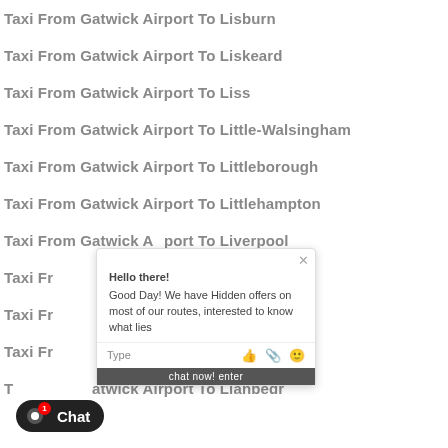Taxi From Gatwick Airport To Lisburn
Taxi From Gatwick Airport To Liskeard
Taxi From Gatwick Airport To Liss
Taxi From Gatwick Airport To Little-Walsingham
Taxi From Gatwick Airport To Littleborough
Taxi From Gatwick Airport To Littlehampton
Taxi From Gatwick Airport To Liverpool
Taxi From Gatwick Airport To Liversedge
Taxi From Gatwick Airport To Livingston
Taxi From Gatwick Airport To Llanarth
Taxi From Gatwick Airport To Llanbedr